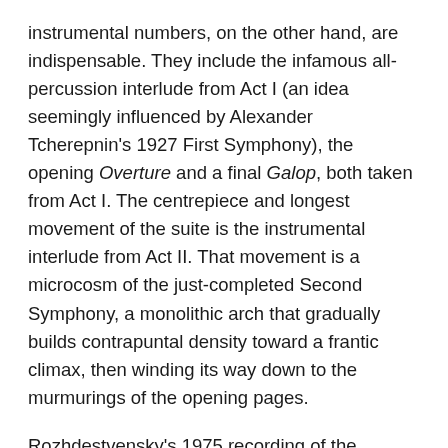instrumental numbers, on the other hand, are indispensable. They include the infamous all-percussion interlude from Act I (an idea seemingly influenced by Alexander Tcherepnin's 1927 First Symphony), the opening Overture and a final Galop, both taken from Act I. The centrepiece and longest movement of the suite is the instrumental interlude from Act II. That movement is a microcosm of the just-completed Second Symphony, a monolithic arch that gradually builds contrapuntal density toward a frantic climax, then winding its way down to the murmurings of the opening pages.
Rozhdestvensky's 1975 recording of the complete opera (reissued in 1998 on BMG 74321 60319 2; reviewed in DSCH 11) has an interpretive panache that drives the work forward with all intended raw satire and modernist electricity. Comparatively, Jurowski's tempos are less driven and lack the swagger of the inimitable Rozhdestvensky.